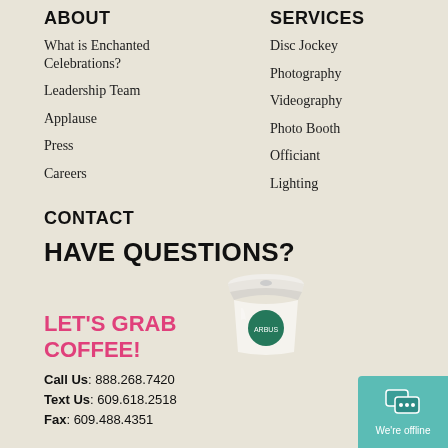ABOUT
What is Enchanted Celebrations?
Leadership Team
Applause
Press
Careers
SERVICES
Disc Jockey
Photography
Videography
Photo Booth
Officiant
Lighting
CONTACT
HAVE QUESTIONS?
LET'S GRAB COFFEE!
[Figure (illustration): Starbucks coffee cup illustration]
Call Us: 888.268.7420
Text Us: 609.618.2518
Fax: 609.488.4351